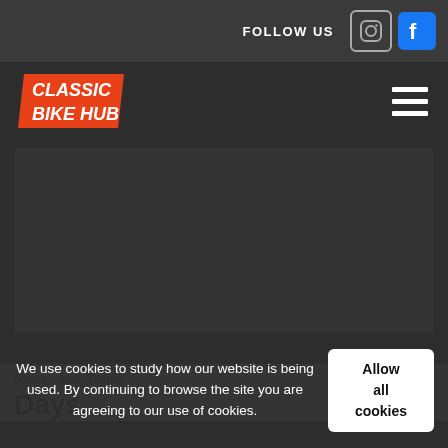FOLLOW US
[Figure (logo): Classic Bike Hub logo — orange parallelogram with white bold text reading CLASSIC BIKE HUB]
[Figure (photo): Dark main image area, content not visible]
News - Alan Turner
Days
We use cookies to study how our website is being used. By continuing to browse the site you are agreeing to our use of cookies.
Allow all cookies